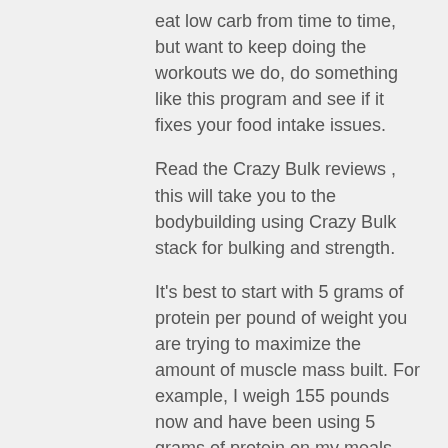eat low carb from time to time, but want to keep doing the workouts we do, do something like this program and see if it fixes your food intake issues.
Read the Crazy Bulk reviews , this will take you to the bodybuilding using Crazy Bulk stack for bulking and strength.
It's best to start with 5 grams of protein per pound of weight you are trying to maximize the amount of muscle mass built. For example, I weigh 155 pounds now and have been using 5 grams of protein on my meals every day.
I'm at 4.5% body fat and have been eating this much protein every day for a month and a half – just a little too much protein and too little fat.